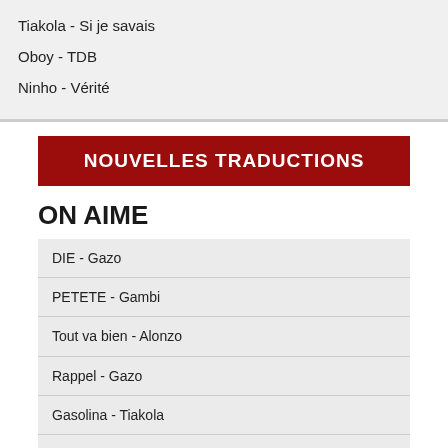Tiakola - Si je savais
Oboy - TDB
Ninho - Vérité
NOUVELLES TRADUCTIONS
ON AIME
DIE - Gazo
PETETE - Gambi
Tout va bien - Alonzo
Rappel - Gazo
Gasolina - Tiakola
Filtré - Timal
Vamos - DJ Quick